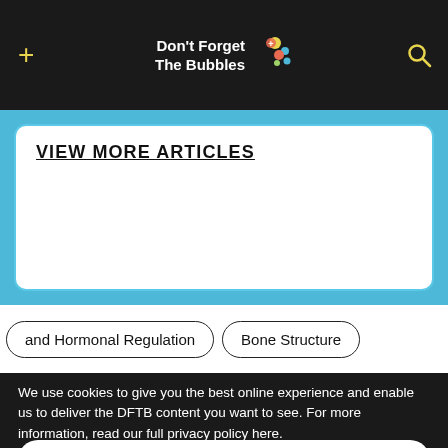Don't Forget The Bubbles
VIEW MORE ARTICLES
and Hormonal Regulation
Bone Structure
We use cookies to give you the best online experience and enable us to deliver the DFTB content you want to see. For more information, read our full privacy policy here.
Accept All
Dismiss